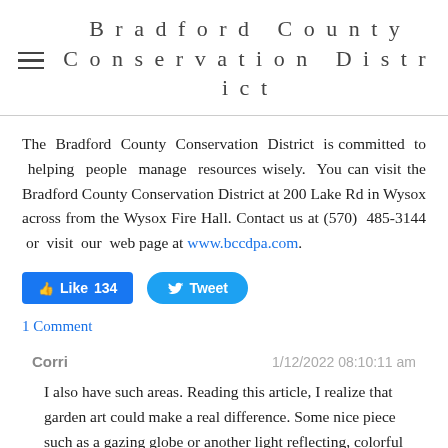Bradford County Conservation District
The Bradford County Conservation District is committed to helping people manage resources wisely. You can visit the Bradford County Conservation District at 200 Lake Rd in Wysox across from the Wysox Fire Hall. Contact us at (570) 485-3144 or visit our web page at www.bccdpa.com.
[Figure (other): Social media buttons: Like 134 (Facebook) and Tweet (Twitter)]
1 Comment
Corri — 1/12/2022 08:10:11 am
I also have such areas. Reading this article, I realize that garden art could make a real difference. Some nice piece such as a gazing globe or another light reflecting, colorful